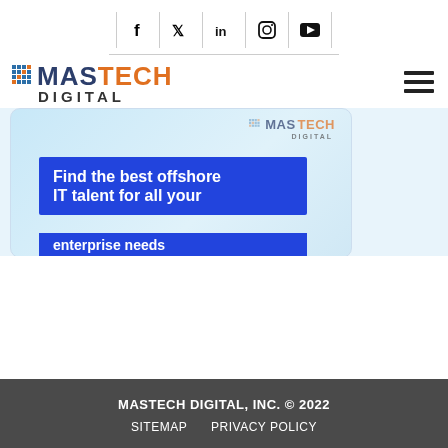[Figure (other): Social media icons bar: Facebook, Twitter, LinkedIn, Instagram, YouTube]
[Figure (logo): MasTech Digital logo with grid icon, MAS in dark blue, TECH in orange, DIGITAL in dark gray]
[Figure (other): Hamburger menu icon (three horizontal lines)]
[Figure (other): Banner image showing MasTech Digital logo watermark and blue box with text: Find the best offshore IT talent for all your enterprise needs]
MASTECH DIGITAL, INC. © 2022
SITEMAP   PRIVACY POLICY